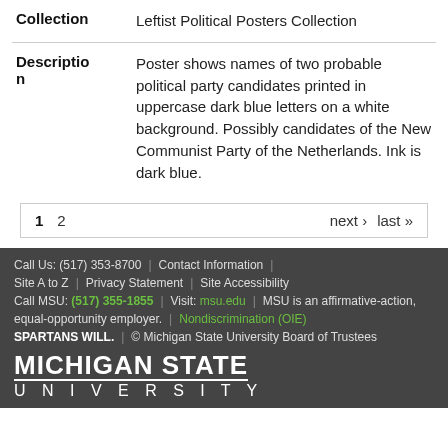| Field | Value |
| --- | --- |
| Collection | Leftist Political Posters Collection |
| Description | Poster shows names of two probable political party candidates printed in uppercase dark blue letters on a white background. Possibly candidates of the New Communist Party of the Netherlands. Ink is dark blue. |
1  2    next ›  last »
Call Us: (517) 353-8700 | Contact Information | Site A to Z | Privacy Statement | Site Accessibility | Call MSU: (517) 355-1855 | Visit: msu.edu | MSU is an affirmative-action, equal-opportunity employer. | Nondiscrimination (OIE) | SPARTANS WILL. | © Michigan State University Board of Trustees | MICHIGAN STATE UNIVERSITY